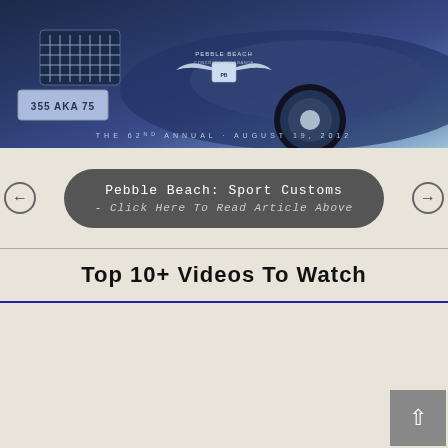[Figure (photo): Pebble Beach Concours d'Elegance 2012 poster showing a close-up of a vintage blue car with license plate 355 AKA 75, Pebble Beach logo with wings, text reading 'THE 62nd ANNUAL · AUGUST 19, 2012']
Pebble Beach: Sport Customs - Click Here To Read Article Above
Top 10+ Videos To Watch